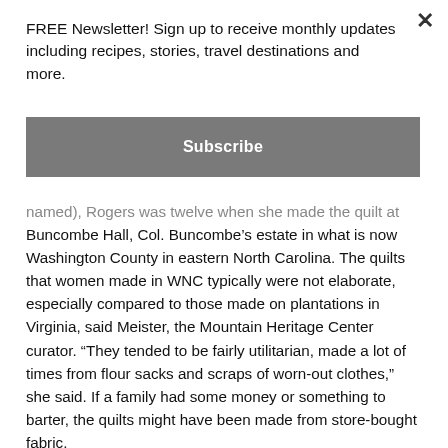FREE Newsletter! Sign up to receive monthly updates including recipes, stories, travel destinations and more.
Subscribe
named), Rogers was twelve when she made the quilt at Buncombe Hall, Col. Buncombe’s estate in what is now Washington County in eastern North Carolina. The quilts that women made in WNC typically were not elaborate, especially compared to those made on plantations in Virginia, said Meister, the Mountain Heritage Center curator. “They tended to be fairly utilitarian, made a lot of times from flour sacks and scraps of worn-out clothes,” she said. If a family had some money or something to barter, the quilts might have been made from store-bought fabric.
“Something that was brought home to us when we were hanging quilts for an exhibit this summer, was that even with the most humble quilts from the most homespun.